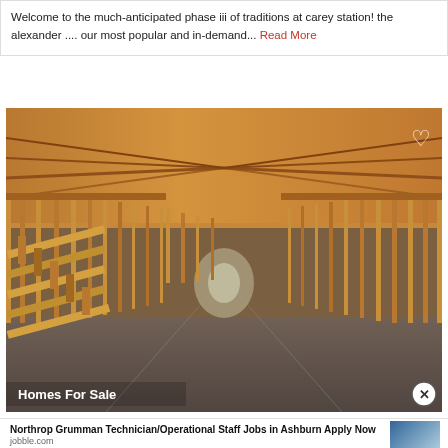Welcome to the much-anticipated phase iii of traditions at carey station! the alexander .... our most popular and in-demand... Read More
[Figure (photo): Interior of a house under construction showing wooden framing, staircase framing on the left, exposed ceiling joists, and a long hallway perspective with concrete floor. A heart icon is visible in the top right corner and 'Homes For Sale' text label is at the bottom left.]
Northrop Grumman Technician/Operational Staff Jobs in Ashburn Apply Now
jobble.com